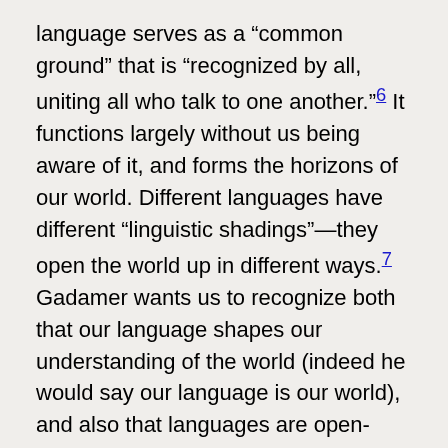language serves as a “common ground” that is “recognized by all, uniting all who talk to one another.”⁶ It functions largely without us being aware of it, and forms the horizons of our world. Different languages have different “linguistic shadings”—they open the world up in different ways.⁷ Gadamer wants us to recognize both that our language shapes our understanding of the world (indeed he would say our language is our world), and also that languages are open-ended. We can expand our own understanding through speaking with others from cultures and languages different from our own.⁸
According to Gadamer, modern science wants to escape the parochial limitations of a particular language in favor of a more “objective” one. In the case of language, science seeks to invent “systems